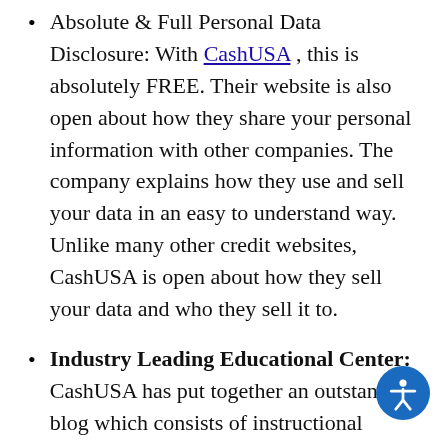Absolute & Full Personal Data Disclosure: With CashUSA , this is absolutely FREE. Their website is also open about how they share your personal information with other companies. The company explains how they use and sell your data in an easy to understand way. Unlike many other credit websites, CashUSA is open about how they sell your data and who they sell it to.
Industry Leading Educational Center: CashUSA has put together an outstanding blog which consists of instructional materials on bad credit loans and emergency loans. Educational resources on this website provide essential information about a range of topics relating to loans including covering commonly asked questions and common concerns
How We Made This List For Getting Online